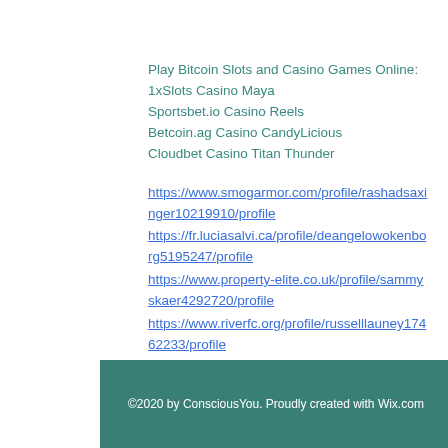Play Bitcoin Slots and Casino Games Online:
1xSlots Casino Maya
Sportsbet.io Casino Reels
Betcoin.ag Casino CandyLicious
Cloudbet Casino Titan Thunder
https://www.smogarmor.com/profile/rashadsaxinger10219910/profile
https://fr.luciasalvi.ca/profile/deangelowokenborg5195247/profile
https://www.property-elite.co.uk/profile/sammyskaer4292720/profile
https://www.riverfc.org/profile/russelllauney17462233/profile
©2020 by ConsciousYou. Proudly created with Wix.com